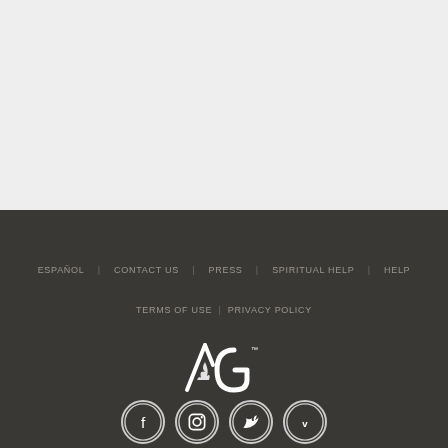[Figure (other): Light gray background section (top half of page)]
ESPAÑOL | CONTACT US | PRESS | SPIRITUAL HELP | HELP
TERMS OF USE | PRIVACY POLICY
[Figure (logo): AG (Assemblies of God) logo in white with trademark symbol]
[Figure (other): Social media icons: Facebook, Instagram, Twitter, Vimeo — white icons in circular outlines]